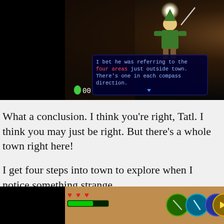[Figure (screenshot): Video game screenshot from The Legend of Zelda: Majora's Mask showing Link character in a dungeon with a dialog box from Tatl reading: 'I bet he was referring to the four areas just outside town. There's one in each compass direction.' with rupee counter showing 00]
What a conclusion. I think you're right, Tatl. I think you may just be right. But there's a whole town right here!
I get four steps into town to explore when I notice something strange.
[Figure (screenshot): Bottom portion of video game HUD showing health hearts, green health bar, and item slots with colored circular items]